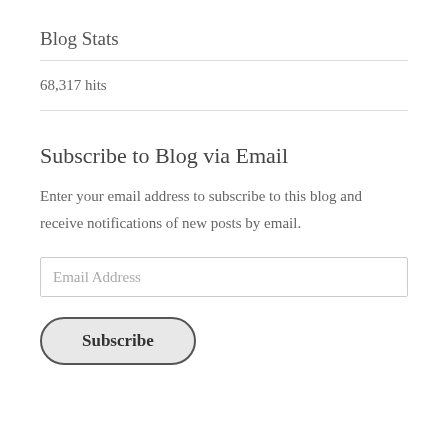Blog Stats
68,317 hits
Subscribe to Blog via Email
Enter your email address to subscribe to this blog and receive notifications of new posts by email.
Email Address
Subscribe